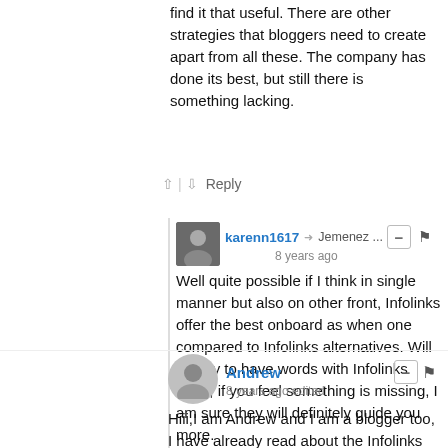find it that useful. There are other strategies that bloggers need to create apart from all these. The company has done its best, but still there is something lacking.
↑ | ↓  Reply
karenn1617 → Jemenez …  8 years ago
Well quite possible if I think in single manner but also on other front, Infolinks offer the best onboard as when one compared to Infolinks alternatives. Will say try to have words with Infolinks team, if you feel something is missing, I am sure they will definitely guide you more.
↑ | ↓  Reply
Andrew  8 years ago edited
Hiii,I am Andrew and I am a blogger too, I have already read about the Infolinks and its solutions that you have mentioned. I have